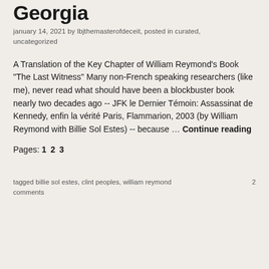Georgia
january 14, 2021 by lbjthemasterofdeceit, posted in curated, uncategorized
A Translation of the Key Chapter of William Reymond's Book "The Last Witness" Many non-French speaking researchers (like me), never read what should have been a blockbuster book nearly two decades ago -- JFK le Dernier Témoin: Assassinat de Kennedy, enfin la vérité Paris, Flammarion, 2003 (by William Reymond with Billie Sol Estes) -- because … Continue reading
Pages: 1 2 3
tagged billie sol estes, clint peoples, william reymond    2 comments